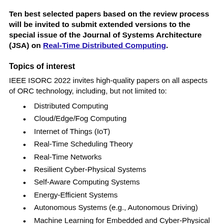Ten best selected papers based on the review process will be invited to submit extended versions to the special issue of the Journal of Systems Architecture (JSA) on Real-Time Distributed Computing.
Topics of interest
IEEE ISORC 2022 invites high-quality papers on all aspects of ORC technology, including, but not limited to:
Distributed Computing
Cloud/Edge/Fog Computing
Internet of Things (IoT)
Real-Time Scheduling Theory
Real-Time Networks
Resilient Cyber-Physical Systems
Self-Aware Computing Systems
Energy-Efficient Systems
Autonomous Systems (e.g., Autonomous Driving)
Machine Learning for Embedded and Cyber-Physical Systems
Real-Time Deep Learning Inference